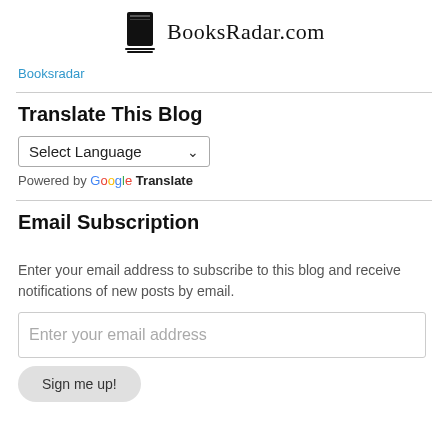[Figure (logo): BooksRadar.com logo with book icon and site name]
Booksradar
Translate This Blog
[Figure (screenshot): Select Language dropdown widget with Google Translate branding]
Email Subscription
Enter your email address to subscribe to this blog and receive notifications of new posts by email.
[Figure (screenshot): Email subscription input field with placeholder 'Enter your email address' and Sign me up button]